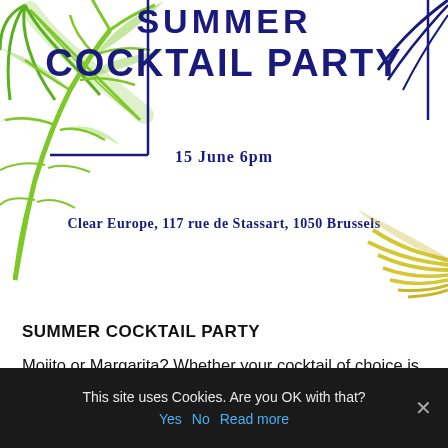[Figure (illustration): Summer Cocktail Party invitation banner with decorative palm leaves (green on left, blue on top right, yellow/green on bottom right), navy blue rectangular frame lines, and centered event title text in dark navy: SUMMER COCKTAIL PARTY, 15 June 6pm, Clear Europe, 117 rue de Stassart, 1050 Brussels]
SUMMER COCKTAIL PARTY
Mojito or Margarita? Whether your cocktail of choice is minty fresh or salty citrus, we'd be delighted if you'd join us for a drink or three to celebrate the start of summer on June 15. Please reply here if you can make it.
Read More
This site uses Cookies. Are you OK with that? Yes No Read more